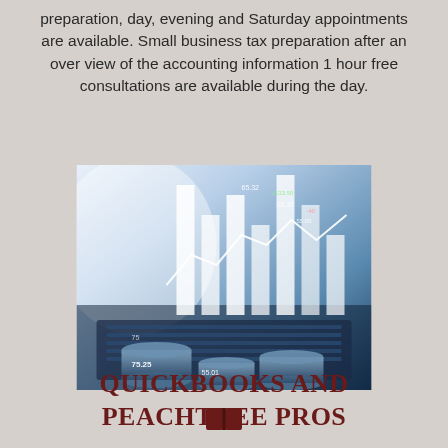preparation, day, evening and Saturday appointments are available. Small business tax preparation after an over view of the accounting information 1 hour free consultations are available during the day.
[Figure (photo): Stock market financial data visualization with bar charts and numbers overlaid on a laptop keyboard and stacked coins, in blue tones]
QUICKBOOKS AND PEACHTREE PROS